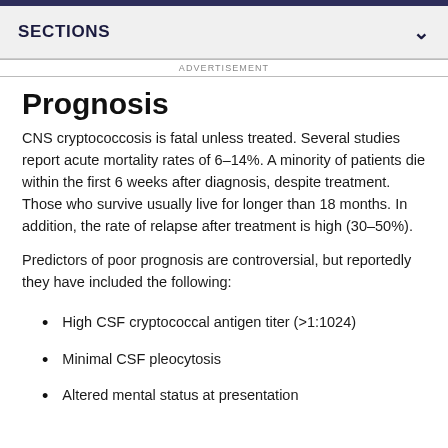SECTIONS
ADVERTISEMENT
Prognosis
CNS cryptococcosis is fatal unless treated. Several studies report acute mortality rates of 6–14%. A minority of patients die within the first 6 weeks after diagnosis, despite treatment. Those who survive usually live for longer than 18 months. In addition, the rate of relapse after treatment is high (30–50%).
Predictors of poor prognosis are controversial, but reportedly they have included the following:
High CSF cryptococcal antigen titer (>1:1024)
Minimal CSF pleocytosis
Altered mental status at presentation